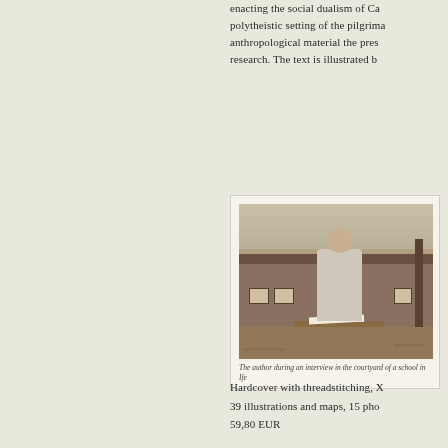enacting the social dualism of Ca polytheistic setting of the pilgrima anthropological material the pres research. The text is illustrated b
[Figure (photo): Black and white photograph of the author during an interview in the courtyard of a school. A man with glasses sits at a wooden desk outdoors, with a building visible in the background.]
The author during an interview in the courtyard of a school in Ife
Hardcover with threadstitching, X 39 illustrations and maps, 15 pho 59,80 EUR